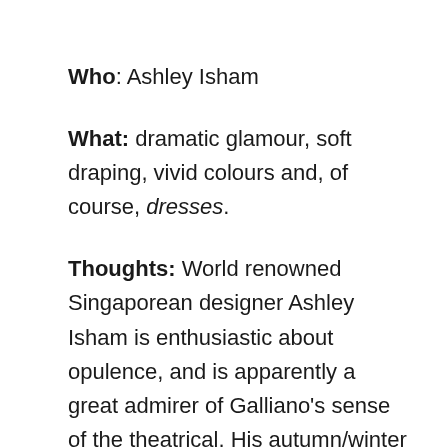Who: Ashley Isham
What: dramatic glamour, soft draping, vivid colours and, of course, dresses.
Thoughts: World renowned Singaporean designer Ashley Isham is enthusiastic about opulence, and is apparently a great admirer of Galliano's sense of the theatrical. His autumn/winter collection definitely encompasses the ostentatious and the dramatic, presenting a show that was both contemporary and glamorous. Queues down the street and around the corner proved he has